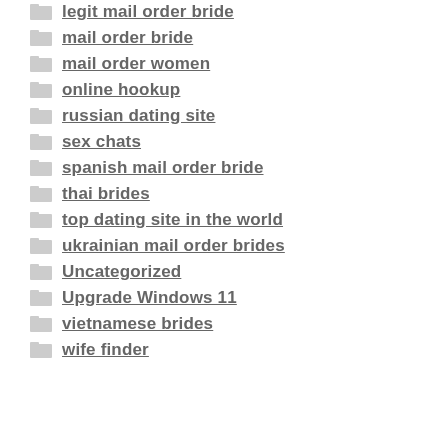legit mail order bride
mail order bride
mail order women
online hookup
russian dating site
sex chats
spanish mail order bride
thai brides
top dating site in the world
ukrainian mail order brides
Uncategorized
Upgrade Windows 11
vietnamese brides
wife finder